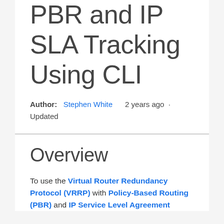VRRP With PBR and IP SLA Tracking Using CLI
Author: Stephen White  2 years ago · Updated
Overview
To use the Virtual Router Redundancy Protocol (VRRP) with Policy-Based Routing (PBR) and IP Service Level Agreement (SLA)...